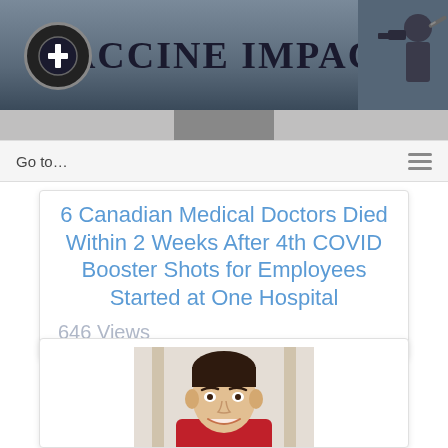[Figure (logo): Vaccine Impact website banner with logo and title]
Go to...
6 Canadian Medical Doctors Died Within 2 Weeks After 4th COVID Booster Shots for Employees Started at One Hospital
646 Views
[Figure (photo): Portrait photo of a young man with dark hair, smiling, wearing a red top with white collar]